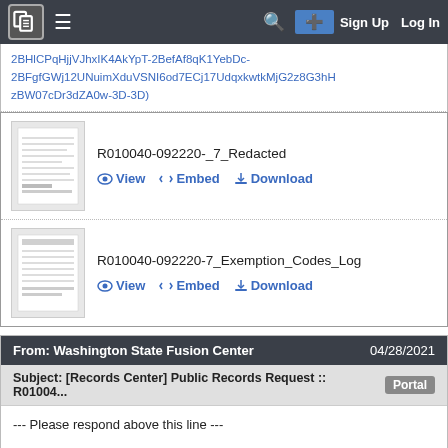Navigation bar with logo, menu, search, sign up and log in
2BHlCPqHjjVJhxIK4AkYpT-2BefAf8qK1YebDc-2BFgfGWj12UNuimXduVSNI6od7ECj17UdqxkwtkMjG2z8G3hHzBW07cDr3dZA0w-3D-3D)
R010040-092220-_7_Redacted
View  Embed  Download
R010040-092220-7_Exemption_Codes_Log
View  Embed  Download
From: Washington State Fusion Center   04/28/2021
Subject: [Records Center] Public Records Request :: R01004...   Portal
--- Please respond above this line ---

RE: Public Records Request of September 22, 2020,